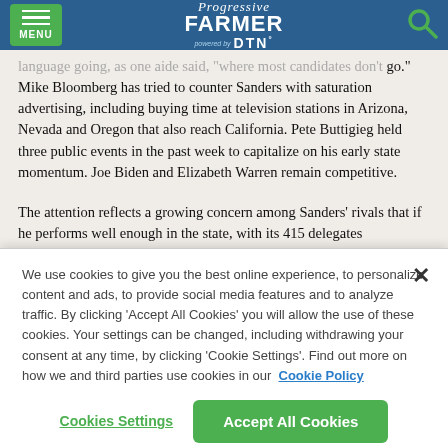Progressive Farmer powered by DTN – MENU
go." Mike Bloomberg has tried to counter Sanders with saturation advertising, including buying time at television stations in Arizona, Nevada and Oregon that also reach California. Pete Buttigieg held three public events in the past week to capitalize on his early state momentum. Joe Biden and Elizabeth Warren remain competitive.
The attention reflects a growing concern among Sanders' rivals that if he performs well enough in the state, with its 415 delegates
We use cookies to give you the best online experience, to personalize content and ads, to provide social media features and to analyze traffic. By clicking 'Accept All Cookies' you will allow the use of these cookies. Your settings can be changed, including withdrawing your consent at any time, by clicking 'Cookie Settings'. Find out more on how we and third parties use cookies in our Cookie Policy
Cookies Settings
Accept All Cookies